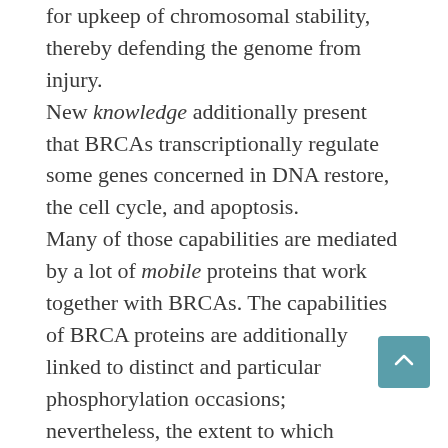for upkeep of chromosomal stability, thereby defending the genome from injury. New knowledge additionally present that BRCAs transcriptionally regulate some genes concerned in DNA restore, the cell cycle, and apoptosis. Many of those capabilities are mediated by a lot of mobile proteins that work together with BRCAs. The capabilities of BRCA proteins are additionally linked to distinct and particular phosphorylation occasions; nevertheless, the extent to which phosphorylation-activated molecular pathways contribute to tumor suppressor exercise stays unclear. Lastly, the the reason why mutations in BRCA